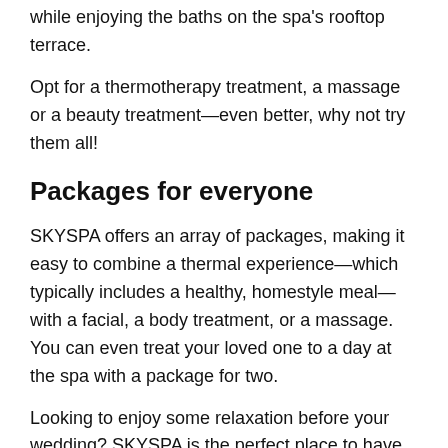while enjoying the baths on the spa's rooftop terrace.
Opt for a thermotherapy treatment, a massage or a beauty treatment—even better, why not try them all!
Packages for everyone
SKYSPA offers an array of packages, making it easy to combine a thermal experience—which typically includes a healthy, homestyle meal—with a facial, a body treatment, or a massage. You can even treat your loved one to a day at the spa with a package for two.
Looking to enjoy some relaxation before your wedding? SKYSPA is the perfect place to have your bachelorette party. During your day of pampering, you'll have access to the baths, saunas, and of course, a bottle of bubbly to celebrate! No matter what you're looking for, SKYSPA has a wide array of options to meet your needs. Discover SKYSPA's packages to find out which one is